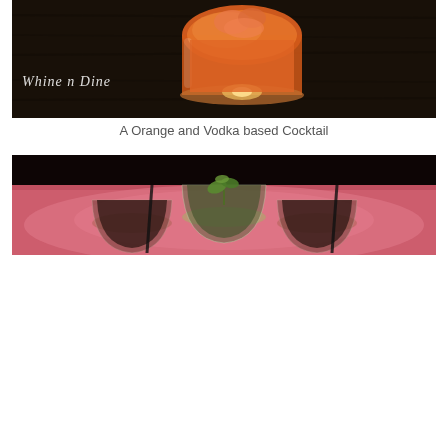[Figure (photo): A close-up photo of an orange and vodka based cocktail in a glass tumbler on a dark wooden surface. The text 'Whine n Dine' appears as a watermark in the lower left of the image.]
A Orange and Vodka based Cocktail
[Figure (photo): A photo of three small shot glasses on a pink/red lit surface. The center glass contains a drink garnished with herb leaves, the other two glasses contain dark-colored drinks.]